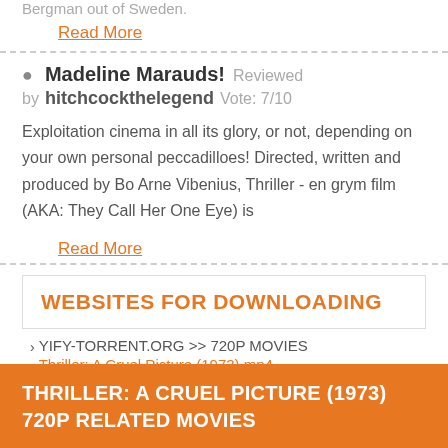Bergman out of Sweden.
Read More
Madeline Marauds!  Reviewed by  hitchcockthelegend  Vote: 7/10
Exploitation cinema in all its glory, or not, depending on your own personal peccadilloes! Directed, written and produced by Bo Arne Vibenius, Thriller - en grym film (AKA: They Call Her One Eye) is
Read More
WEBSITES FOR DOWNLOADING
YIFY-TORRENT.ORG >> 720P MOVIES
Thriller: A Cruel Picture (1973) mp4
THRILLER: A CRUEL PICTURE (1973) 720P RELATED MOVIES